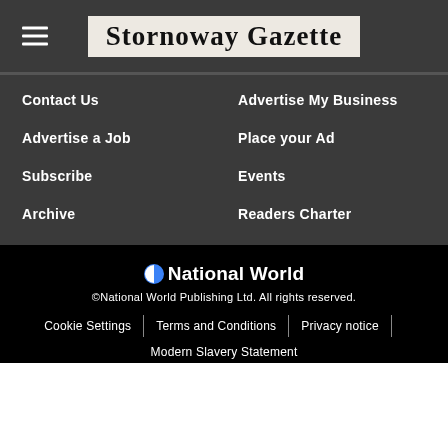Stornoway Gazette
Contact Us
Advertise My Business
Advertise a Job
Place your Ad
Subscribe
Events
Archive
Readers Charter
[Figure (logo): National World logo with blue and white circle icon and bold text]
©National World Publishing Ltd. All rights reserved.
Cookie Settings | Terms and Conditions | Privacy notice | Modern Slavery Statement